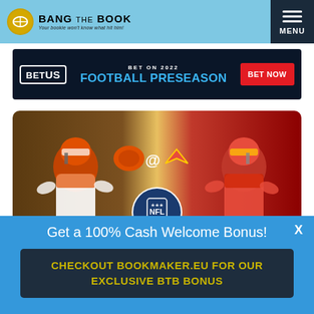BANG THE BOOK — Your bookie won't know what hit him!
[Figure (advertisement): BetUS advertisement banner: BET ON 2022 FOOTBALL PRESEASON with BET NOW button]
[Figure (photo): NFL game matchup graphic: Cleveland Browns vs Kansas City Chiefs, showing quarterbacks in their uniforms with team logos and NFL logo]
Get a 100% Cash Welcome Bonus!
CHECKOUT BOOKMAKER.EU FOR OUR EXCLUSIVE BTB BONUS